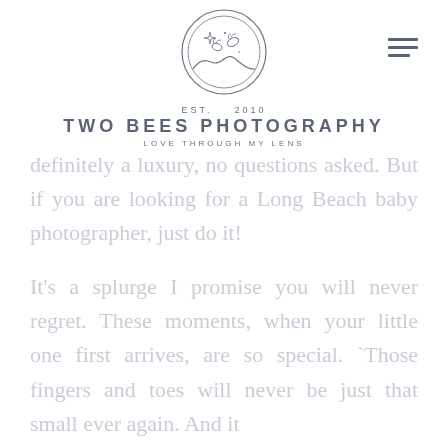[Figure (logo): Two Bees Photography logo: circular emblem with two bees and sparkle stars above rolling hills, with text EST. 2010, TWO BEES PHOTOGRAPHY, LOVE THROUGH MY LENS]
definitely a luxury, no questions asked. But if you are looking for a Long Beach baby photographer, just do it!
It's a splurge I promise you will never regret. These moments, when your little one first arrives, are so special. `Those fingers and toes will never be just that small ever again. And it